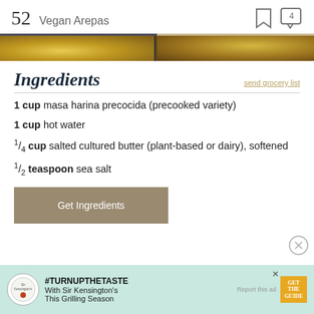52  Vegan Arepas
[Figure (photo): Partial photo strip of arepas dish, golden/yellow food items visible]
Ingredients
send grocery list
1 cup masa harina precocida (precooked variety)
1 cup hot water
1/4 cup salted cultured butter (plant-based or dairy), softened
1/2 teaspoon sea salt
Get Ingredients
[Figure (advertisement): Sir Kensington's ad: #TURNUPTHETASTE With Sir Kensington's This Grilling Season, with Get the Guide button]